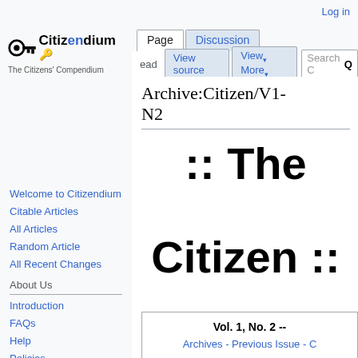Log in
[Figure (logo): Citizendium logo with key icon and text 'Citizendium - The Citizens' Compendium']
Archive:Citizen/V1-N2
:: The Citizen ::
Welcome to Citizendium
Citable Articles
All Articles
Random Article
All Recent Changes
About Us
Introduction
FAQs
Help
Policies
Governance
Contact Us
| Vol. 1, No. 2 -- | Archives - Previous Issue - C |
| --- | --- |